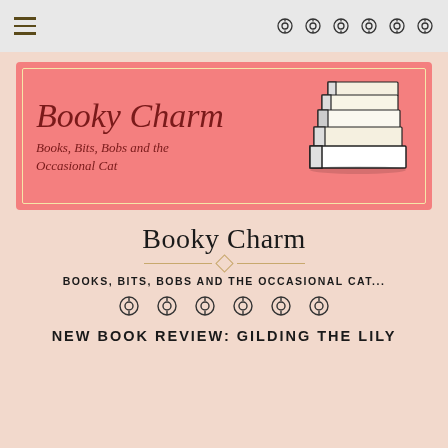Navigation bar with hamburger menu and icons
[Figure (illustration): Booky Charm blog banner: pink background with cream inner border, cursive text 'Booky Charm' in dark red, subtitle 'Books, Bits, Bobs and the Occasional Cat' in italic, stack of books illustration on the right]
Booky Charm
BOOKS, BITS, BOBS AND THE OCCASIONAL CAT...
[Figure (illustration): Row of six social media / decorative circular icons]
NEW BOOK REVIEW: GILDING THE LILY